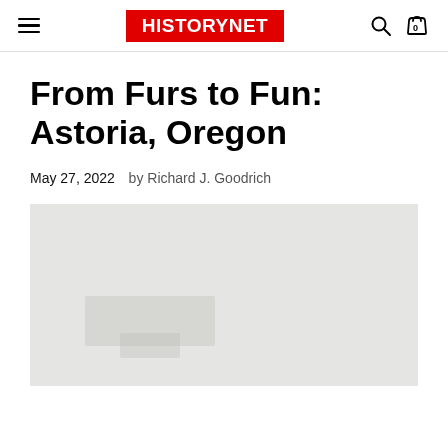HISTORYNET
From Furs to Fun: Astoria, Oregon
May 27, 2022   by Richard J. Goodrich
[Figure (photo): A light gray placeholder image, likely a historic photograph of Astoria, Oregon, partially visible.]